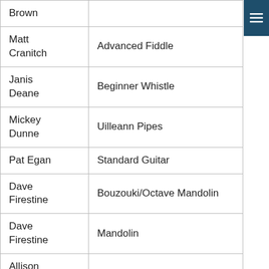| Name | Class |
| --- | --- |
| Brown |  |
| Matt Cranitch | Advanced Fiddle |
| Janis Deane | Beginner Whistle |
| Mickey Dunne | Uilleann Pipes |
| Pat Egan | Standard Guitar |
| Dave Firestine | Bouzouki/Octave Mandolin |
| Dave Firestine | Mandolin |
| Allison Hicks | Piano |
| Therese Honey | Harp |
| James Kelly | Intermediate Fiddle |